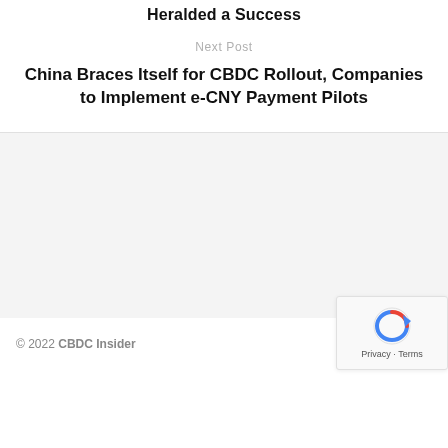Heralded a Success
Next Post
China Braces Itself for CBDC Rollout, Companies to Implement e-CNY Payment Pilots
© 2022 CBDC Insider